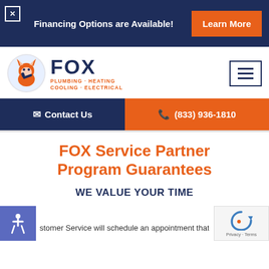Financing Options are Available!  Learn More
[Figure (logo): Fox Plumbing Heating Cooling Electrical logo with fox mascot illustration]
Contact Us
(833) 936-1810
FOX Service Partner Program Guarantees
WE VALUE YOUR TIME
stomer Service will schedule an appointment that is